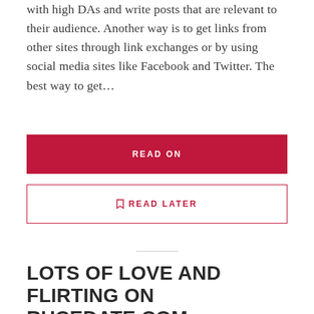with high DAs and write posts that are relevant to their audience. Another way is to get links from other sites through link exchanges or by using social media sites like Facebook and Twitter. The best way to get...
READ ON
🔖 READ LATER
LOTS OF LOVE AND FLIRTING ON RUCEDATE.COM